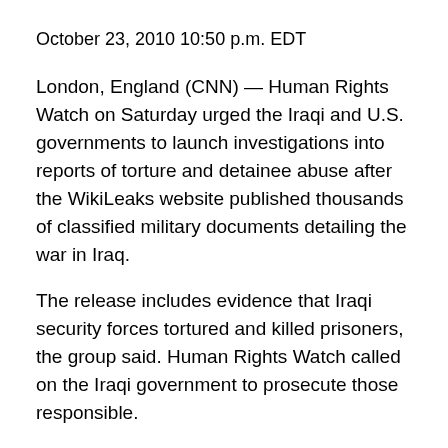October 23, 2010 10:50 p.m. EDT
London, England (CNN) — Human Rights Watch on Saturday urged the Iraqi and U.S. governments to launch investigations into reports of torture and detainee abuse after the WikiLeaks website published thousands of classified military documents detailing the war in Iraq.
The release includes evidence that Iraqi security forces tortured and killed prisoners, the group said. Human Rights Watch called on the Iraqi government to prosecute those responsible.
It also urged the U.S. government to look into whether its forces broke international law by transferring thousands of detainees to Iraqi custody despite what Human Rights Watch called “the clear risk of torture.”